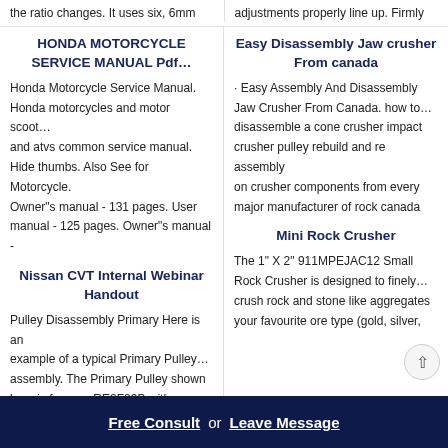the ratio changes. It uses six, 6mm
adjustments properly line up. Firmly
HONDA MOTORCYCLE SERVICE MANUAL Pdf…
Easy Disassembly Jaw crusher From canada
Honda Motorcycle Service Manual. Honda motorcycles and motor scoot… and atvs common service manual. Hide thumbs. Also See for Motorcycle. Owner"s manual - 131 pages. User manual - 125 pages. Owner"s manual -
· Easy Assembly And Disassembly Jaw Crusher From Canada. how to… disassemble a cone crusher impact crusher pulley rebuild and re assembly on crusher components from every major manufacturer of rock canada
Nissan CVT Internal Webinar Handout
Mini Rock Crusher
Pulley Disassembly Primary Here is an example of a typical Primary Pulley… assembly. The Primary Pulley shown here is from an RE0F09B with a
The 1" X 2" 911MPEJAC12 Small Rock Crusher is designed to finely… crush rock and stone like aggregates your favourite ore type (gold, silver,
Free Consult  or  Leave Message